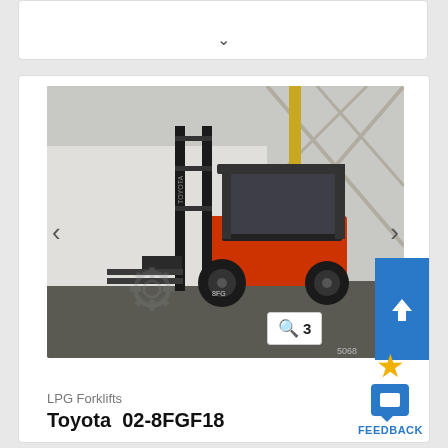[Figure (screenshot): Collapsed card with chevron/dropdown arrow at top of page]
[Figure (photo): Toyota 02-8FGF18 LPG forklift in a warehouse setting, black and red forklift facing left with forks extended, inside a product listing card with left/right navigation arrows, zoom badge showing '3', and upload button]
LPG Forklifts
Toyota  02-8FGF18